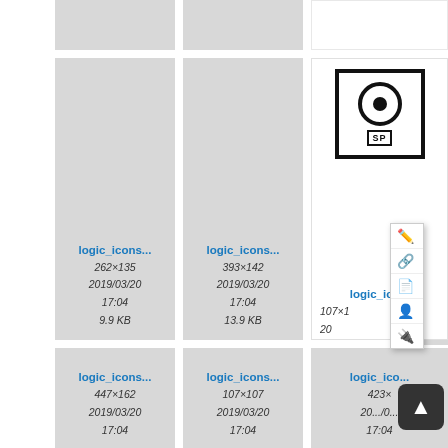[Figure (screenshot): File browser / media gallery showing logic_icons image thumbnails in a grid layout. Top partial row shows 3 grey thumbnail cards. Second row shows: card 1 with logic_icons... 262×135 2019/03/20 17:04 9.9 KB, card 2 with logic_icons... 393×142 2019/03/20 17:04 13.9 KB, card 3 partially visible with a speed camera sign image logic_icons... 107×1... 20... with a context menu overlay showing edit/link/pdf/user/plugin icons. Third row shows: card 1 with logic_icons... 447×162 2019/03/20 17:04, card 2 with logic_icons... 107×107 2019/03/20 17:04, card 3 partially visible logic_icons... 423×... 20.../0... 17:04. A scroll-to-top button is visible at bottom right.]